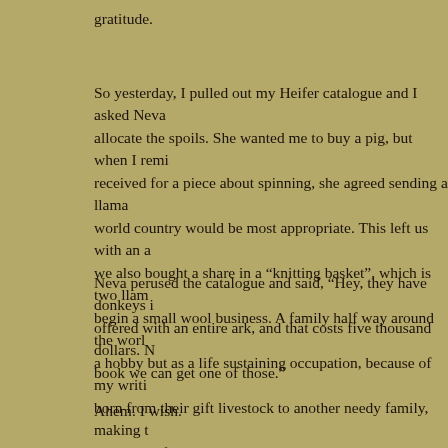gratitude.
So yesterday, I pulled out my Heifer catalogue and I asked Neva to allocate the spoils. She wanted me to buy a pig, but when I reminded her of the money received for a piece about spinning, she agreed sending a llama to a third world country would be most appropriate. This left us with an amount, so we also bought a share in a “knitting basket”, which is two llamas to help a family begin a small wool business. A family half way around the world will practice not a hobby but as a life sustaining occupation, because of my writing. They will pass born from their gift livestock to another needy family, making this a circle of giving. Perfect.
Neva perused the catalogue and said, “Hey, they have donkeys in here! And they’re offered with an entire ark, and that costs five thousand dollars. Maybe after your next book we can get one of those.”
Ahem. I wish.